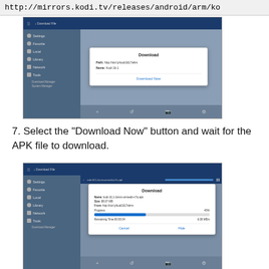http://mirrors.kodi.tv/releases/android/arm/ko
[Figure (screenshot): Download dialog box showing Path: http://tstr.ly/kodi1617ahm and Name: Kodi 16.1 with a Download Now button, within a file manager app sidebar interface]
7. Select the "Download Now" button and wait for the APK file to download.
[Figure (screenshot): Download dialog showing progress at 45%, Name: kodi-16.1-Jarvis-armeabi-v7a.apk, Size: 88.07 MB, From: http://tstr.ly/kodi1617ahrm, Progress: 45%, Remaining Time: 00:00:04, 6.08 MB/s with Cancel and Hide buttons]